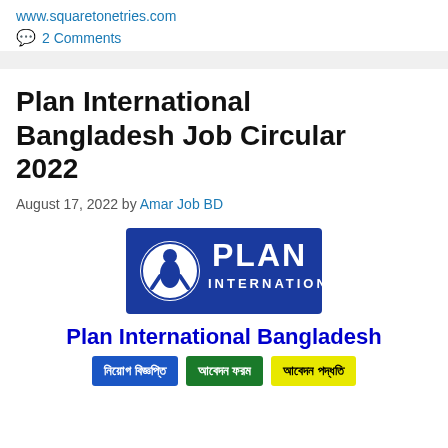www.squaretonetries.com
2 Comments
Plan International Bangladesh Job Circular 2022
August 17, 2022 by Amar Job BD
[Figure (logo): Plan International logo — blue rectangle with white circle containing a child figure and the text PLAN INTERNATIONAL]
Plan International Bangladesh
নিয়োগ বিজ্ঞপ্তি | আবেদন ফরম | আবেদন পদ্ধতি